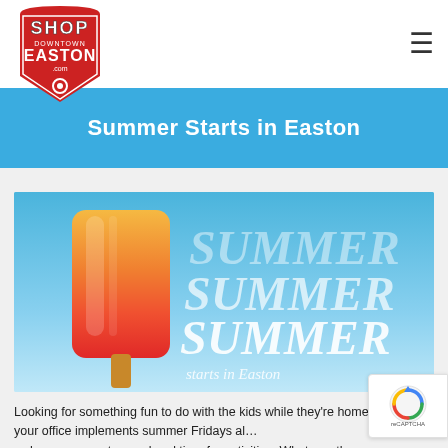Shop Downtown Easton .com
Summer Starts in Easton
[Figure (illustration): A colorful popsicle/ice lolly on a blue gradient background with the words SUMMER SUMMER SUMMER starts in Easton in white italic text]
Looking for something fun to do with the kids while they’re home? Maybe your office implements summer Fridays al… … have some extra weekend time for activities. Whatever the case…